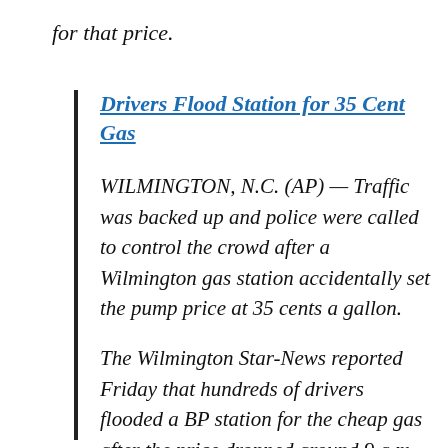for that price.
Drivers Flood Station for 35 Cent Gas
WILMINGTON, N.C. (AP) — Traffic was backed up and police were called to control the crowd after a Wilmington gas station accidentally set the pump price at 35 cents a gallon.
The Wilmington Star-News reported Friday that hundreds of drivers flooded a BP station for the cheap gas after the price dropped around 9 a.m. Thursday.
Station employee Shane Weller said